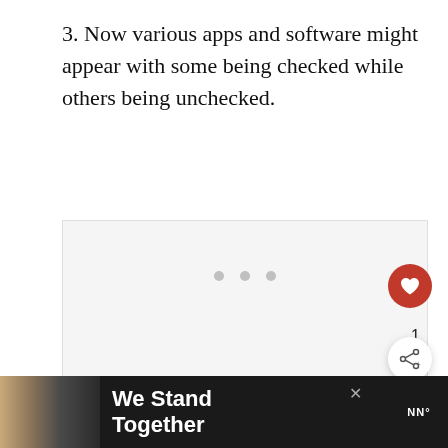3. Now various apps and software might appear with some being checked while others being unchecked.
[Figure (screenshot): Loading placeholder with three gray dots on a light gray background, indicating an image or content is loading.]
[Figure (other): UI overlay: dark red circular like/heart button, count '1', white circular share button with share icon on right side.]
[Figure (other): Bottom advertisement bar with dark background, showing people in a group photo, text 'We Stand Together', close button X, and a weather/news logo on the right.]